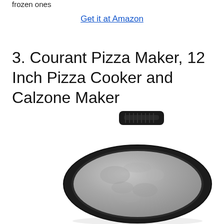frozen ones
Get it at Amazon
3. Courant Pizza Maker, 12 Inch Pizza Cooker and Calzone Maker
[Figure (photo): A Courant Pizza Maker shown from above with a round gray ceramic/stone cooking surface inside a black clamshell-style housing with a handle hinge at the top.]